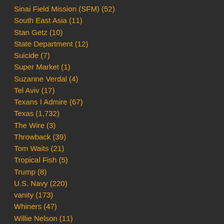Sinai Field Mission (SFM) (52)
South East Asia (11)
Stan Getz (10)
State Department (12)
Suicide (7)
Super Market (1)
Suzanne Verdal (4)
Tel Aviv (17)
Texans I Admire (67)
Texas (1,732)
The Wire (3)
Throwback (39)
Tom Waits (21)
Tropical Fish (5)
Trump (8)
U.S. Navy (220)
vanity (173)
Whiners (47)
Willie Nelson (11)
Wordpress (59)
WP (1)